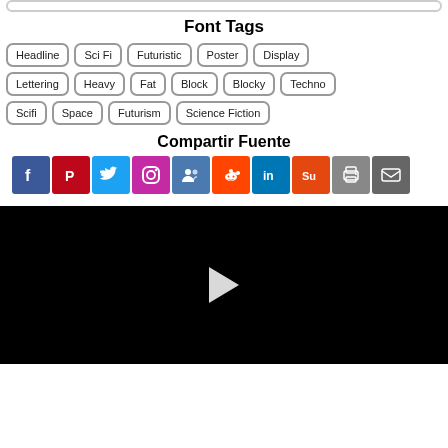Font Tags
Headline
Sci Fi
Futuristic
Poster
Display
Lettering
Heavy
Fat
Block
Blocky
Techno
Scifi
Space
Futurism
Science Fiction
Compartir Fuente
[Figure (infographic): Social sharing buttons: Facebook, Pinterest, Twitter, Instagram, Myspace, Reddit, LinkedIn, StumbleUpon, Print, Email]
[Figure (screenshot): Black video player area with white play button triangle in center]